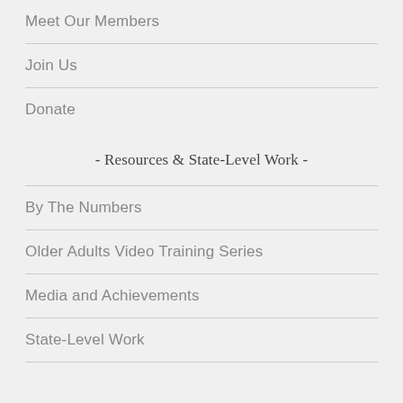Meet Our Members
Join Us
Donate
- Resources & State-Level Work -
By The Numbers
Older Adults Video Training Series
Media and Achievements
State-Level Work